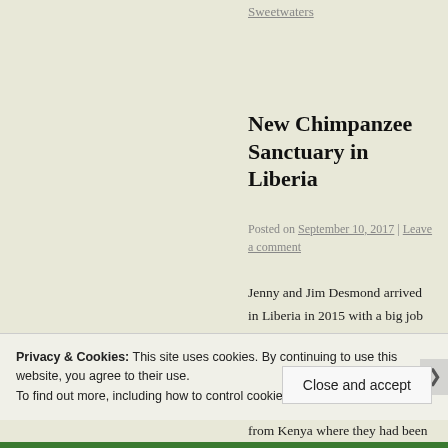Sweetwaters
New Chimpanzee Sanctuary in Liberia
Posted on September 10, 2017 | Leave a comment
Jenny and Jim Desmond arrived in Liberia in 2015 with a big job to do – overseeing the care of the 66 chimpanzees abandoned on six Marshall Islands by the New York Blood Center. They had come from Kenya where they had been assisting
Privacy & Cookies: This site uses cookies. By continuing to use this website, you agree to their use.
To find out more, including how to control cookies, see here: Cookie Policy
Close and accept